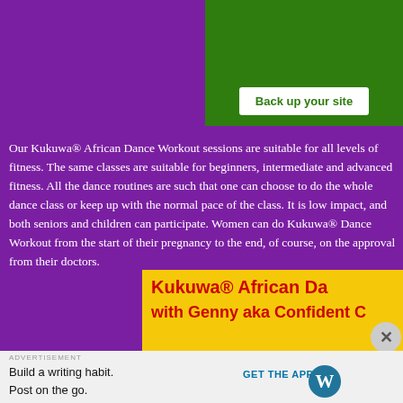[Figure (screenshot): Green banner with 'Back up your site' button on white background]
Our Kukuwa® African Dance Workout sessions are suitable for all levels of fitness. The same classes are suitable for beginners, intermediate and advanced fitness. All the dance routines are such that one can choose to do the whole dance class or keep up with the normal pace of the class. It is low impact, and both seniors and children can participate. Women can do Kukuwa® Dance Workout from the start of their pregnancy to the end, of course, on the approval from their doctors.
[Figure (advertisement): Yellow banner ad for Kukuwa® African Dance with Genny aka Confident]
[Figure (advertisement): Bottom advertisement: Build a writing habit. Post on the go. GET THE APP with WordPress logo]